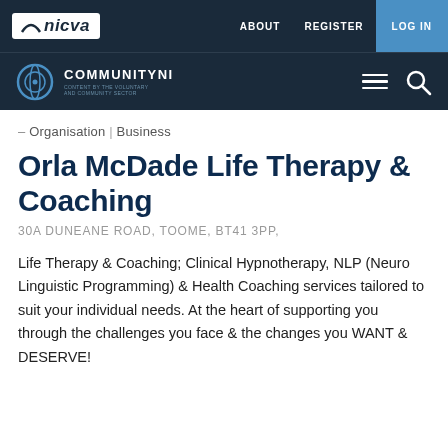nicva | ABOUT  REGISTER  LOG IN
COMMUNITYNI
– Organisation | Business
Orla McDade Life Therapy & Coaching
30A DUNEANE ROAD, TOOME, BT41 3PP,
Life Therapy & Coaching; Clinical Hypnotherapy, NLP (Neuro Linguistic Programming) & Health Coaching services tailored to suit your individual needs. At the heart of supporting you through the challenges you face & the changes you WANT & DESERVE!